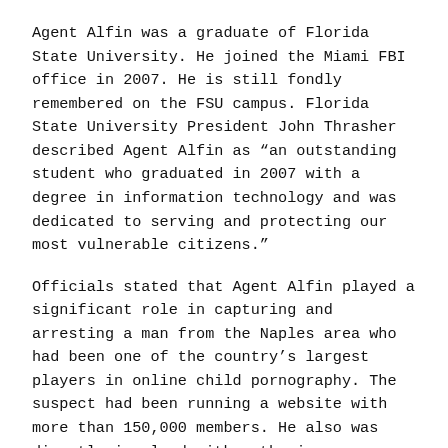Agent Alfin was a graduate of Florida State University. He joined the Miami FBI office in 2007. He is still fondly remembered on the FSU campus. Florida State University President John Thrasher described Agent Alfin as “an outstanding student who graduated in 2007 with a degree in information technology and was dedicated to serving and protecting our most vulnerable citizens.”
Officials stated that Agent Alfin played a significant role in capturing and arresting a man from the Naples area who had been one of the country’s largest players in online child pornography. The suspect had been running a website with more than 150,000 members. He also was directly involved with authoring